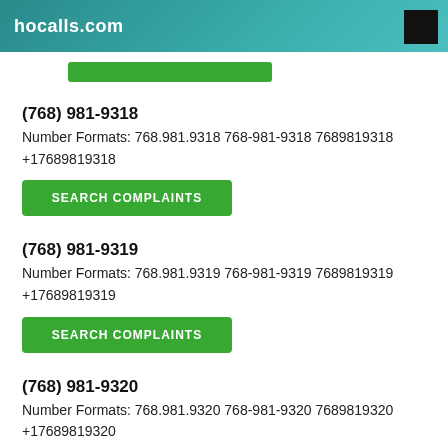hocalls.com
(768) 981-9318
Number Formats: 768.981.9318 768-981-9318 7689819318 +17689819318
SEARCH COMPLAINTS
(768) 981-9319
Number Formats: 768.981.9319 768-981-9319 7689819319 +17689819319
SEARCH COMPLAINTS
(768) 981-9320
Number Formats: 768.981.9320 768-981-9320 7689819320 +17689819320
SEARCH COMPLAINTS